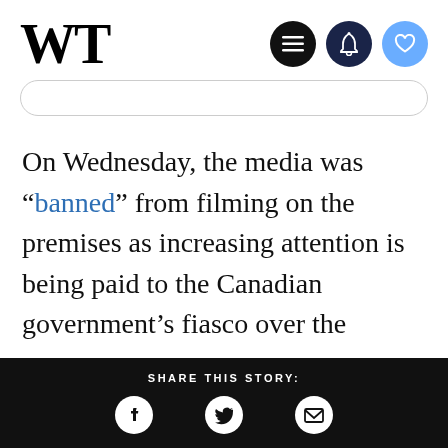WT
On Wednesday, the media was “banned” from filming on the premises as increasing attention is being paid to the Canadian government’s fiasco over the passports.
SHARE THIS STORY: